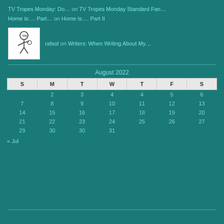TV Tropes Monday: Do... on TV Tropes Monday Standard Fan...
Home is:... Part... on Home is:... Part II
rafast on Writers: When Writing About My...
| S | M | T | W | T | F | S |
| --- | --- | --- | --- | --- | --- | --- |
|  | 2 | 3 | 4 | 4 | 5 | 6 |
| 7 | 8 | 9 | 10 | 11 | 12 | 13 |
| 14 | 15 | 16 | 17 | 18 | 19 | 20 |
| 21 | 22 | 23 | 24 | 25 | 26 | 27 |
| 29 | 30 | 30 | 31 |  |  |  |
« Jul